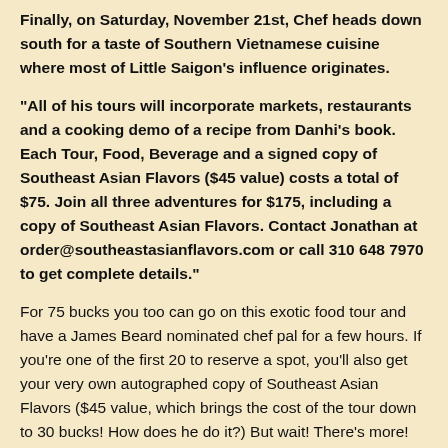Finally, on Saturday, November 21st, Chef heads down south for a taste of Southern Vietnamese cuisine where most of Little Saigon's influence originates.
"All of his tours will incorporate markets, restaurants and a cooking demo of a recipe from Danhi's book. Each Tour, Food, Beverage and a signed copy of Southeast Asian Flavors ($45 value) costs a total of $75. Join all three adventures for $175, including a copy of Southeast Asian Flavors. Contact Jonathan at order@southeastasianflavors.com or call 310 648 7970 to get complete details."
For 75 bucks you too can go on this exotic food tour and have a James Beard nominated chef pal for a few hours. If you're one of the first 20 to reserve a spot, you'll also get your very own autographed copy of Southeast Asian Flavors ($45 value, which brings the cost of the tour down to 30 bucks! How does he do it?) But wait! There's more! You'll also get